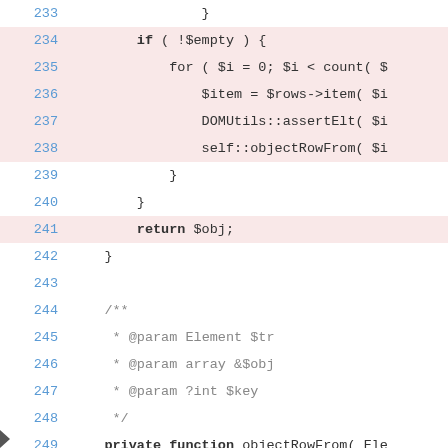[Figure (screenshot): Code editor screenshot showing PHP source code lines 233-251 with syntax highlighting. Lines 234-238 and 241, 250-251 have a pink/red highlight background. Line numbers appear in blue on the left. Keywords like 'if', 'for', 'return', 'private', 'function' are in bold.]